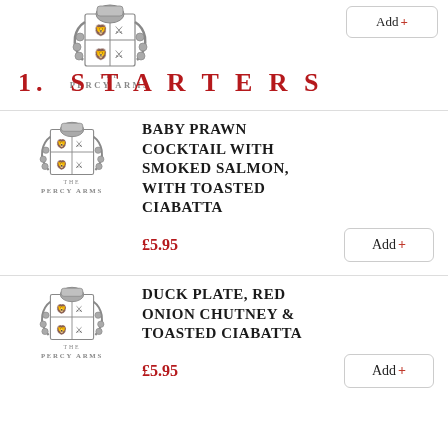[Figure (logo): The Percy Arms crest/logo at top of page]
1.  STARTERS
BABY PRAWN COCKTAIL WITH SMOKED SALMON, WITH TOASTED CIABATTA — £5.95
DUCK PLATE, RED ONION CHUTNEY & TOASTED CIABATTA — £5.95